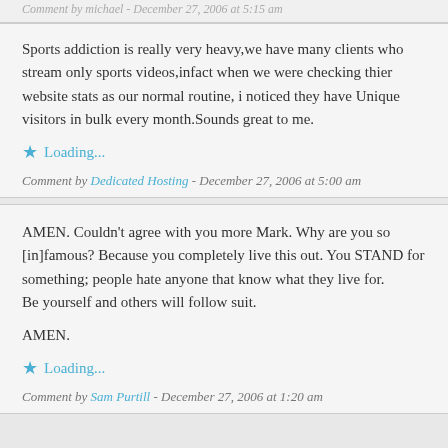Comment by michael - December 27, 2006 at 5:15 am
Sports addiction is really very heavy,we have many clients who stream only sports videos,infact when we were checking thier website stats as our normal routine, i noticed they have Unique visitors in bulk every month.Sounds great to me.
Loading...
Comment by Dedicated Hosting - December 27, 2006 at 5:00 am
AMEN. Couldn't agree with you more Mark. Why are you so [in]famous? Because you completely live this out. You STAND for something; people hate anyone that know what they live for.
Be yourself and others will follow suit.

AMEN.
Loading...
Comment by Sam Purtill - December 27, 2006 at 1:20 am